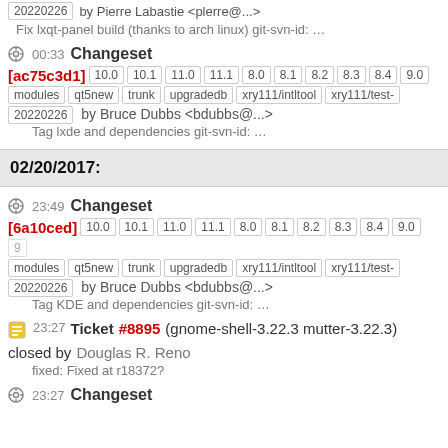20220226 by Pierre Labastie <plerre@...>
Fix lxqt-panel build (thanks to arch linux) git-svn-id: ...
00:33 Changeset
[ac75c3d1] 10.0 10.1 11.0 11.1 8.0 8.1 8.2 8.3 8.4 9.0 modules qt5new trunk upgradedb xry111/intltool xry111/test-20220226 by Bruce Dubbs <bdubbs@...>
Tag lxde and dependencies git-svn-id: ...
02/20/2017:
23:49 Changeset
[6a10ced] 10.0 10.1 11.0 11.1 8.0 8.1 8.2 8.3 8.4 9.0 modules qt5new trunk upgradedb xry111/intltool xry111/test-20220226 by Bruce Dubbs <bdubbs@...>
Tag KDE and dependencies git-svn-id: ...
23:27 Ticket #8895 (gnome-shell-3.22.3 mutter-3.22.3) closed by Douglas R. Reno
fixed: Fixed at r18372?
23:27 Changeset